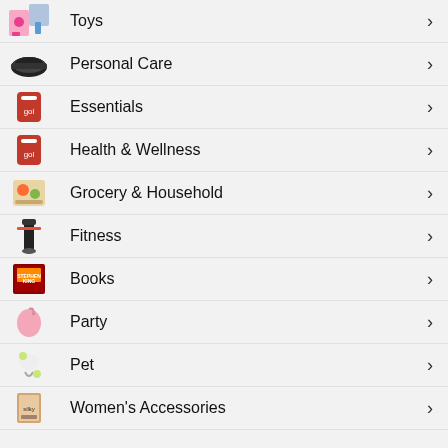Toys
Personal Care
Essentials
Health & Wellness
Grocery & Household
Fitness
Books
Party
Pet
Women's Accessories